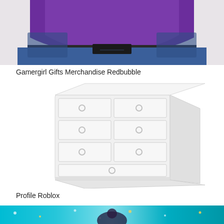[Figure (photo): Cropped photo showing person wearing a purple shirt and blue denim jeans, waist and hip area visible]
Gamergirl Gifts Merchandise Redbubble
[Figure (photo): White dresser/chest of drawers with multiple drawers and circular ring pulls, angled view on white background]
Profile Roblox
[Figure (photo): Colorful image with teal/cyan background with sparkles and a figure, appears to be a Roblox profile or game-related image]